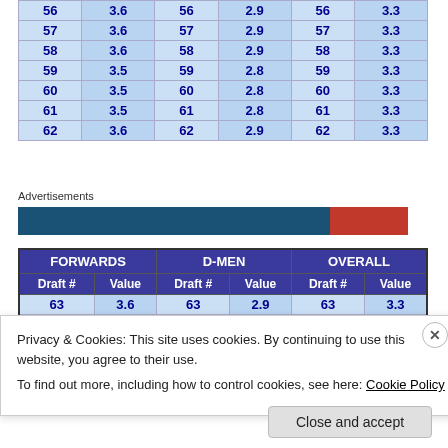| Draft # | Value | Draft # | Value | Draft # | Value |
| --- | --- | --- | --- | --- | --- |
| 56 | 3.6 | 56 | 2.9 | 56 | 3.3 |
| 57 | 3.6 | 57 | 2.9 | 57 | 3.3 |
| 58 | 3.6 | 58 | 2.9 | 58 | 3.3 |
| 59 | 3.5 | 59 | 2.8 | 59 | 3.3 |
| 60 | 3.5 | 60 | 2.8 | 60 | 3.3 |
| 61 | 3.5 | 61 | 2.8 | 61 | 3.3 |
| 62 | 3.6 | 62 | 2.9 | 62 | 3.3 |
Advertisements
| FORWARDS |  | D-MEN |  | OVERALL |  |
| --- | --- | --- | --- | --- | --- |
| Draft # | Value | Draft # | Value | Draft # | Value |
| 63 | 3.6 | 63 | 2.9 | 63 | 3.3 |
| 64 | 3.6 | 64 | 2.9 | 64 | 3.3 |
Privacy & Cookies: This site uses cookies. By continuing to use this website, you agree to their use.
To find out more, including how to control cookies, see here: Cookie Policy